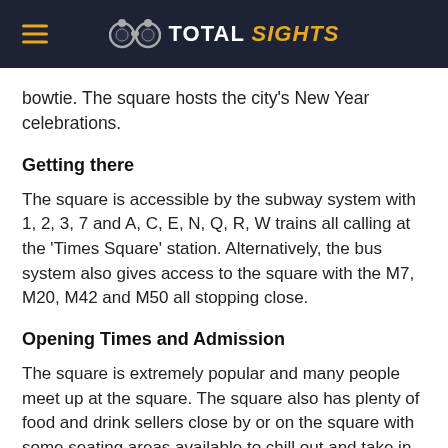TOTAL SIGHTS
bowtie. The square hosts the city's New Year celebrations.
Getting there
The square is accessible by the subway system with 1, 2, 3, 7 and A, C, E, N, Q, R, W trains all calling at the 'Times Square' station. Alternatively, the bus system also gives access to the square with the M7, M20, M42 and M50 all stopping close.
Opening Times and Admission
The square is extremely popular and many people meet up at the square. The square also has plenty of food and drink sellers close by or on the square with some seating areas available to chill out and take in the atmosphere of the area. The square is open all hours of the day and is free to access with it being a public square.